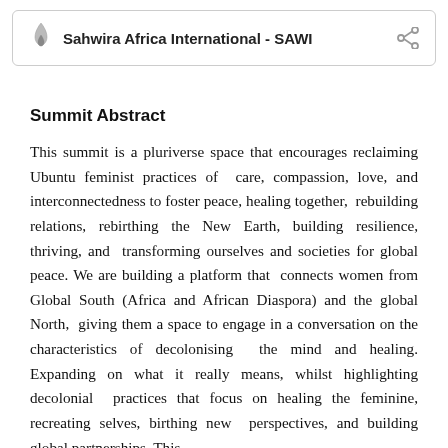Sahwira Africa International - SAWI
Summit Abstract
This summit is a pluriverse space that encourages reclaiming Ubuntu feminist practices of care, compassion, love, and interconnectedness to foster peace, healing together, rebuilding relations, rebirthing the New Earth, building resilience, thriving, and transforming ourselves and societies for global peace. We are building a platform that connects women from Global South (Africa and African Diaspora) and the global North, giving them a space to engage in a conversation on the characteristics of decolonising the mind and healing. Expanding on what it really means, whilst highlighting decolonial practices that focus on healing the feminine, recreating selves, birthing new perspectives, and building global partnerships. This